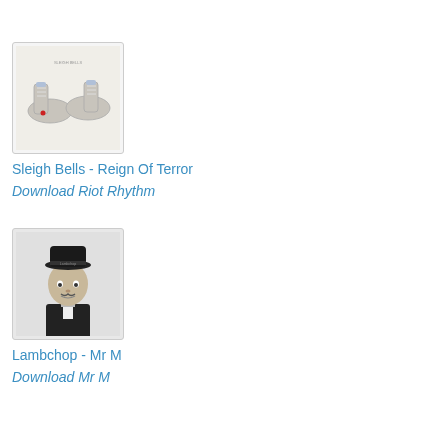[Figure (photo): Album cover for Sleigh Bells - Reign Of Terror showing a pair of gray sneakers/shoes on a white background]
Sleigh Bells - Reign Of Terror
Download Riot Rhythm
[Figure (photo): Album cover for Lambchop - Mr M showing a black and white portrait of a man wearing a top hat]
Lambchop - Mr M
Download Mr M